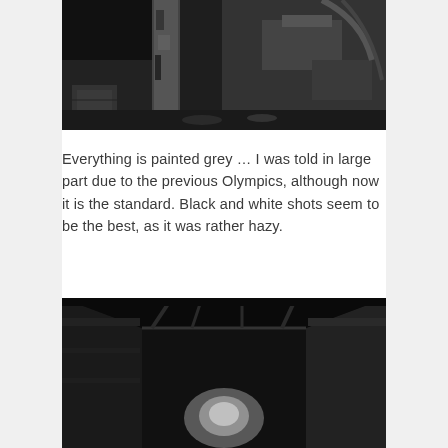[Figure (photo): Black and white photograph showing a peeling painted wooden post or pole structure in an industrial or construction setting, with debris and equipment visible in the background.]
Everything is painted grey … I was told in large part due to the previous Olympics, although now it is the standard. Black and white shots seem to be the best, as it was rather hazy.
[Figure (photo): Black and white photograph of a narrow alleyway or corridor between old dark wooden buildings, with a light source visible at the far end.]